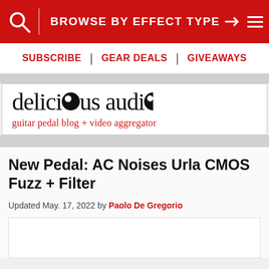BROWSE BY EFFECT TYPE
SUBSCRIBE | GEAR DEALS | GIVEAWAYS
[Figure (logo): Delicious Audio logo — 'delicious audio' in serif font with stylized circular letter forms, tagline: 'guitar pedal blog + video aggregator' in red]
New Pedal: AC Noises Urla CMOS Fuzz + Filter
Updated May. 17, 2022 by Paolo De Gregorio